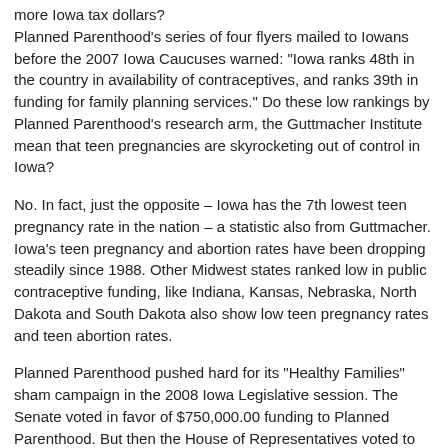more Iowa tax dollars?
Planned Parenthood's series of four flyers mailed to Iowans before the 2007 Iowa Caucuses warned: "Iowa ranks 48th in the country in availability of contraceptives, and ranks 39th in funding for family planning services." Do these low rankings by Planned Parenthood's research arm, the Guttmacher Institute mean that teen pregnancies are skyrocketing out of control in Iowa?
No. In fact, just the opposite – Iowa has the 7th lowest teen pregnancy rate in the nation – a statistic also from Guttmacher. Iowa's teen pregnancy and abortion rates have been dropping steadily since 1988. Other Midwest states ranked low in public contraceptive funding, like Indiana, Kansas, Nebraska, North Dakota and South Dakota also show low teen pregnancy rates and teen abortion rates.
Planned Parenthood pushed hard for its "Healthy Families" sham campaign in the 2008 Iowa Legislative session. The Senate voted in favor of $750,000.00 funding to Planned Parenthood. But then the House of Representatives voted to remove the $750,000 for the new family planning line item from the budget bill.